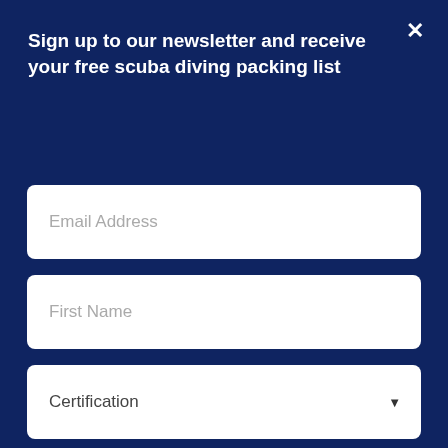Sign up to our newsletter and receive your free scuba diving packing list
[Figure (screenshot): Email Address input field (empty text box)]
[Figure (screenshot): First Name input field (empty text box)]
[Figure (screenshot): Certification dropdown select field]
[Figure (screenshot): Sign up button in red/crimson color]
contacts out from your eyes.
When considering this solution, it does depend on your